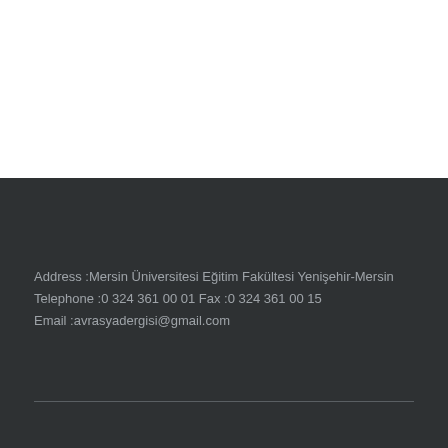Address :Mersin Üniversitesi Eğitim Fakültesi Yenişehir-Mersin
Telephone :0 324 361 00 01 Fax :0 324 361 00 15
Email :avrasyadergisi@gmail.com